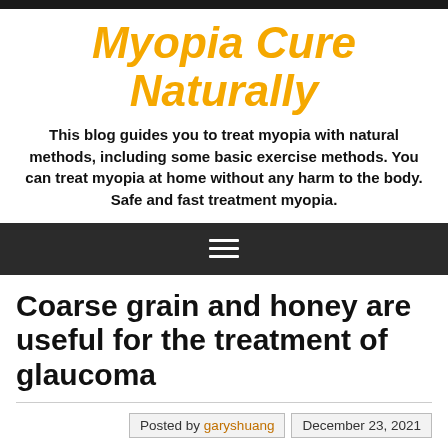Myopia Cure Naturally
This blog guides you to treat myopia with natural methods, including some basic exercise methods. You can treat myopia at home without any harm to the body. Safe and fast treatment myopia.
[Figure (other): Navigation menu hamburger icon (three horizontal white lines on dark background)]
Coarse grain and honey are useful for the treatment of glaucoma
Posted by garyshuang   December 23, 2021
Abstract about treatment options and related text (partially visible)